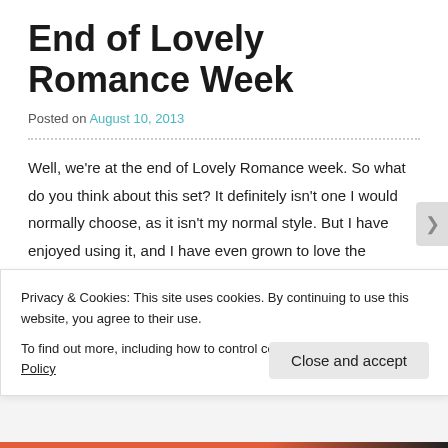End of Lovely Romance Week
Posted on August 10, 2013
Well, we're at the end of Lovely Romance week.  So what do you think about this set?  It definitely isn't one I would normally choose, as it isn't my normal style.  But I have enjoyed using it, and I have even grown to love the coordinating dsp, Venetian Romance.  It has such beautiful colors and it's very different from the other offerings.
Privacy & Cookies: This site uses cookies. By continuing to use this website, you agree to their use. To find out more, including how to control cookies, see here: Cookie Policy